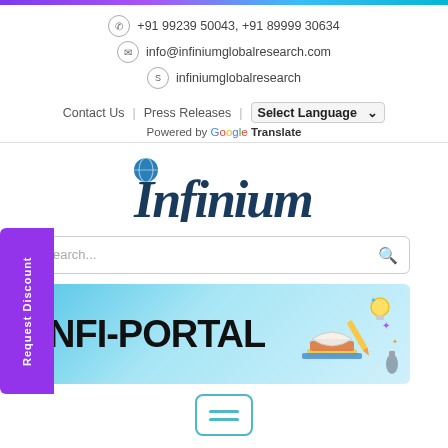+91 99239 50043,  +91 89999 30634 | info@infiniumglobalresearch.com | infiniumglobalresearch
Contact Us | Press Releases | Select Language ▾
Powered by Google Translate
[Figure (logo): Infinium logo with globe icon above the I, text reads Infinium in dark blue italic serif font]
Search...
[Figure (screenshot): NFI-PORTAL banner with blue gradient background and educational icons illustration on right side]
[Figure (other): Hamburger menu button with teal border at the bottom]